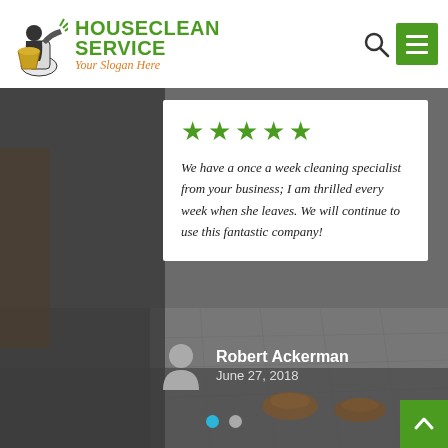[Figure (logo): HouseClean Service logo with cleaning equipment icon, green bold text 'HOUSECLEAN SERVICE' and orange italic slogan 'Your Slogan Here']
[Figure (screenshot): Website screenshot showing a house cleaning service testimonial page with a dark photo background of a room interior, a white review card with 5 green stars, italic review text, reviewer name Robert Ackerman with date June 27 2018, pagination dots, search and hamburger menu icons, and a green back-to-top button]
We have a once a week cleaning specialist from your business; I am thrilled every week when she leaves. We will continue to use this fantastic company!
Robert Ackerman
June 27, 2018